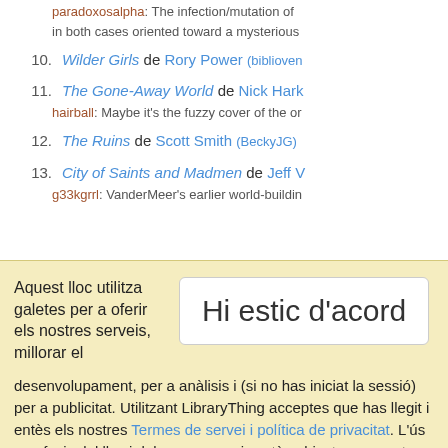paradoxosalpha: The infection/mutation of in both cases oriented toward a mysterious
10. Wilder Girls de Rory Power (biblioven
11. The Gone-Away World de Nick Hark
hairball: Maybe it's the fuzzy cover of the or
12. The Ruins de Scott Smith (BeckyJG)
13. City of Saints and Madmen de Jeff V
g33kgrrl: VanderMeer's earlier world-buildin
Aquest lloc utilitza galetes per a oferir els nostres serveis, millorar el desenvolupament, per a anàlisis i (si no has iniciat la sessió) per a publicitat. Utilitzant LibraryThing acceptes que has llegit i entès els nostres Termes de servei i política de privacitat. L'ús que facis del lloc i dels seus serveis està subjecte a aquestes polítiques i termes.
Hi estic d'acord